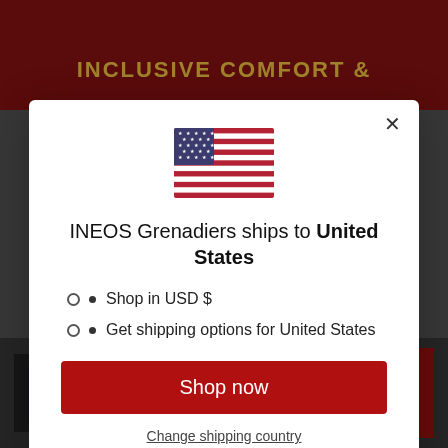[Figure (screenshot): Background of an e-commerce website for INEOS Grenadiers showing a red header with yellow bold text 'INCLUSIVE COMFORT &' and a product listing at the bottom with a dark background, product image placeholder, prices (£100.00 struck through, £91.00) and a red 'ADD TO CART' button.]
[Figure (illustration): US flag emoji/icon displayed in the center of the modal dialog]
INEOS Grenadiers ships to United States
Shop in USD $
Get shipping options for United States
Shop now
Change shipping country